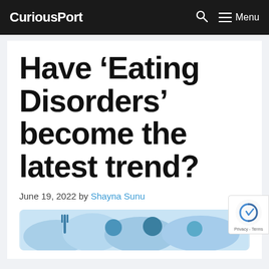CuriousPort  🔍  ≡ Menu
Have ‘Eating Disorders’ become the latest trend?
June 19, 2022 by Shayna Sunu
[Figure (illustration): Illustration showing stylized figures with eating disorder themes in blue tones]